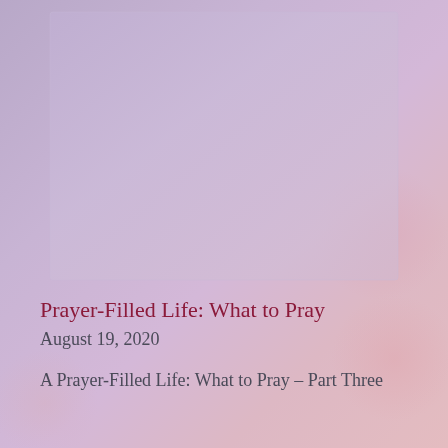[Figure (photo): A soft, hazy sky photograph with muted purple and pink tones, serving as a background image. A lighter rectangular overlay or inset image occupies the upper portion of the composition.]
Prayer-Filled Life: What to Pray
August 19, 2020
A Prayer-Filled Life: What to Pray – Part Three